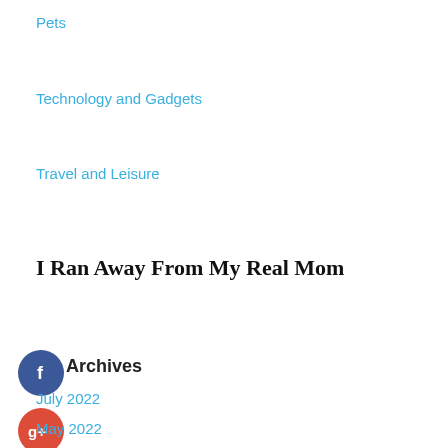Pets
Technology and Gadgets
Travel and Leisure
I Ran Away From My Real Mom
[Figure (illustration): Social media icons: Facebook (blue circle with f), Google+ (red circle with g+), Twitter (blue circle with bird), and a blue circle with + sign]
Archives
July 2022
May 2022